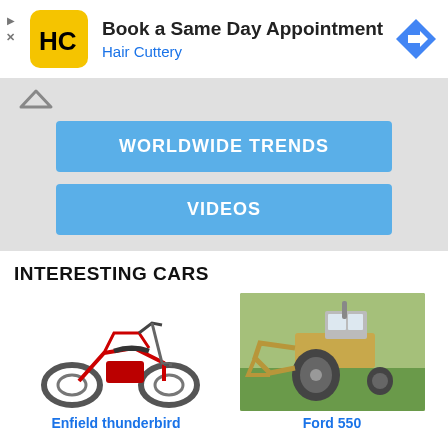[Figure (infographic): Hair Cuttery advertisement banner with yellow HC logo, text 'Book a Same Day Appointment', 'Hair Cuttery', and a blue navigation arrow icon on the right.]
WORLDWIDE TRENDS
VIDEOS
INTERESTING CARS
[Figure (photo): Red Royal Enfield Thunderbird motorcycle on white background.]
Enfield thunderbird
[Figure (photo): Ford 550 backhoe/tractor on a grassy field.]
Ford 550